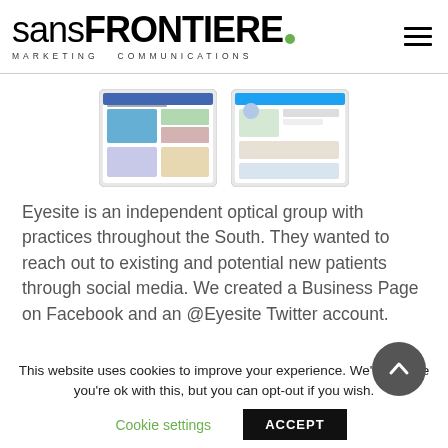sansFRONTIERE. MARKETING COMMUNICATIONS
[Figure (screenshot): Two tablet/device screenshots showing social media pages (Facebook-style layout with images)]
Eyesite is an independent optical group with practices throughout the South. They wanted to reach out to existing and potential new patients through social media. We created a Business Page on Facebook and an @Eyesite Twitter account.
This website uses cookies to improve your experience. We'll assume you're ok with this, but you can opt-out if you wish.
Cookie settings  ACCEPT